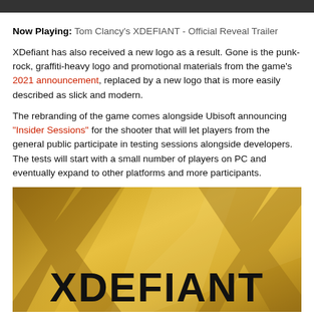Now Playing: Tom Clancy's XDEFIANT - Official Reveal Trailer
XDefiant has also received a new logo as a result. Gone is the punk-rock, graffiti-heavy logo and promotional materials from the game's 2021 announcement, replaced by a new logo that is more easily described as slick and modern.
The rebranding of the game comes alongside Ubisoft announcing "Insider Sessions" for the shooter that will let players from the general public participate in testing sessions alongside developers. The tests will start with a small number of players on PC and eventually expand to other platforms and more participants.
[Figure (photo): XDefiant logo on a golden/yellow background with large stylized text XDEFIANT]